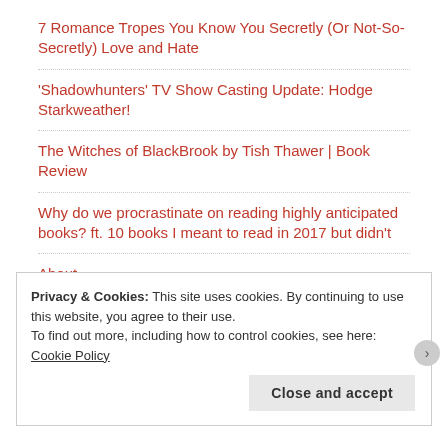7 Romance Tropes You Know You Secretly (Or Not-So-Secretly) Love and Hate
'Shadowhunters' TV Show Casting Update: Hodge Starkweather!
The Witches of BlackBrook by Tish Thawer | Book Review
Why do we procrastinate on reading highly anticipated books? ft. 10 books I meant to read in 2017 but didn't
About
Privacy & Cookies: This site uses cookies. By continuing to use this website, you agree to their use. To find out more, including how to control cookies, see here: Cookie Policy
Close and accept